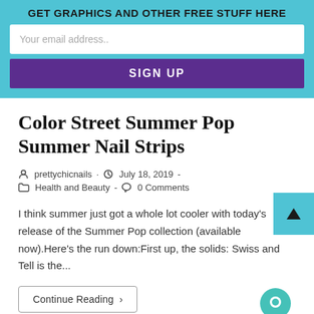GET GRAPHICS AND OTHER FREE STUFF HERE
Your email address..
SIGN UP
Color Street Summer Pop Summer Nail Strips
prettychicnails · July 18, 2019 · Health and Beauty · 0 Comments
I think summer just got a whole lot cooler with today's release of the Summer Pop collection (available now).Here's the run down:First up, the solids: Swiss and Tell is the...
Continue Reading ›